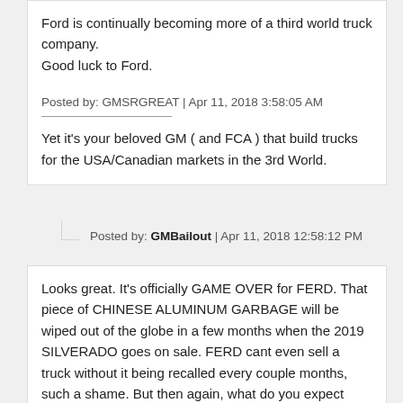Ford is continually becoming more of a third world truck company.
Good luck to Ford.
Posted by: GMSRGREAT | Apr 11, 2018 3:58:05 AM
Yet it's your beloved GM ( and FCA ) that build trucks for the USA/Canadian markets in the 3rd World.
Posted by: GMBailout | Apr 11, 2018 12:58:12 PM
Looks great. It's officially GAME OVER for FERD. That piece of CHINESE ALUMINUM GARBAGE will be wiped out of the globe in a few months when the 2019 SILVERADO goes on sale. FERD cant even sell a truck without it being recalled every couple months, such a shame. But then again, what do you expect from a company that produces nothing JUNK, GARBAGE AND JUNK.